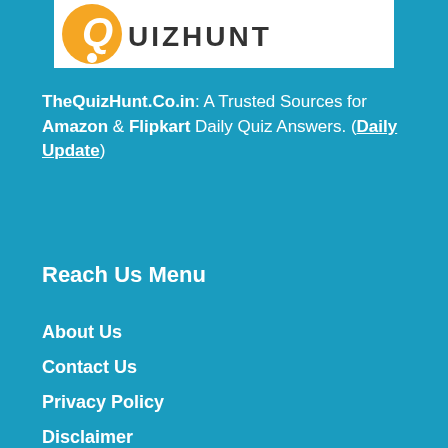[Figure (logo): QuizHunt logo with orange circle containing letter Q and text 'QUIZHUNT' on white background]
TheQuizHunt.Co.in: A Trusted Sources for Amazon & Flipkart Daily Quiz Answers. (Daily Update)
Reach Us Menu
About Us
Contact Us
Privacy Policy
Disclaimer
Editorial